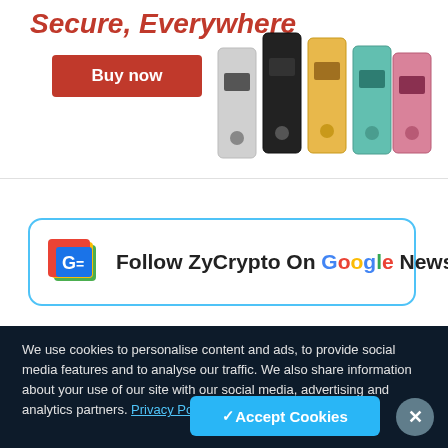[Figure (photo): Advertisement banner showing hardware crypto wallets in multiple colors (black, gold/yellow, teal, pink) with italic red bold text 'Secure, Everywhere' and a red 'Buy now' button]
[Figure (logo): Follow ZyCrypto On Google News banner with Google News icon in a rounded blue-bordered box]
We use cookies to personalise content and ads, to provide social media features and to analyse our traffic. We also share information about your use of our site with our social media, advertising and analytics partners. Privacy Policy
✓ Accept Cookies